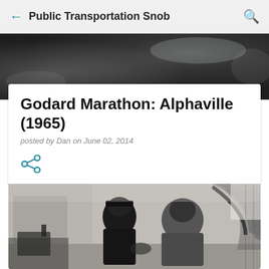Public Transportation Snob
[Figure (photo): Dark blurred hero banner image, appears to be a dark abstract or landscape photo used as a blog header background]
Godard Marathon: Alphaville (1965)
posted by Dan on June 02, 2014
[Figure (illustration): Share icon (two connected dots with lines, social share symbol) in teal/blue color]
[Figure (photo): Black and white film still from Alphaville (1965) showing two people (a woman and a man seen from behind) appearing to converse indoors near a curved staircase]